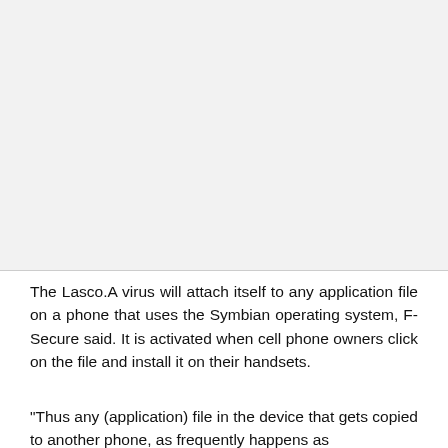[Figure (photo): Blank/light gray image placeholder area at top of page]
The Lasco.A virus will attach itself to any application file on a phone that uses the Symbian operating system, F-Secure said. It is activated when cell phone owners click on the file and install it on their handsets.
"Thus any (application) file in the device that gets copied to another phone, as frequently happens as